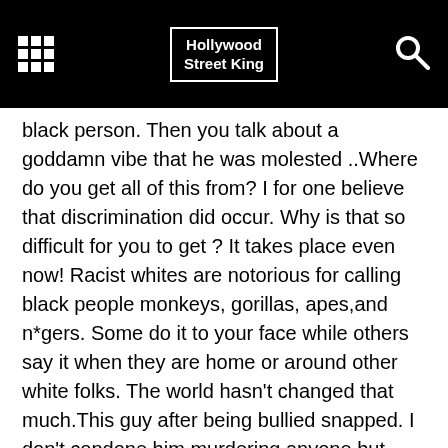Hollywood Street King
black person. Then you talk about a goddamn vibe that he was molested ..Where do you get all of this from? I for one believe that discrimination did occur. Why is that so difficult for you to get ? It takes place even now! Racist whites are notorious for calling black people monkeys, gorillas, apes,and n*gers. Some do it to your face while others say it when they are home or around other white folks. The world hasn't changed that much.This guy after being bullied snapped. I don't condone him murdering anyone but many people who are bullied over time commit suicide, or lash out at others eventually.